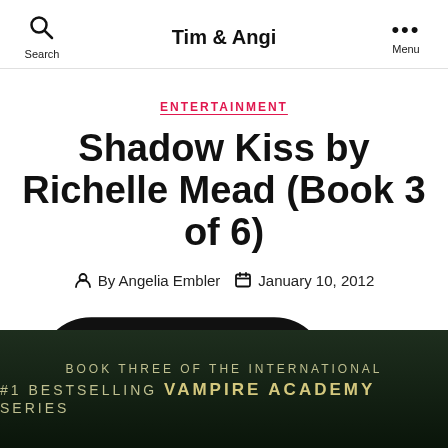Tim & Angi
ENTERTAINMENT
Shadow Kiss by Richelle Mead (Book 3 of 6)
By Angelia Embler  January 10, 2012
No Comments
[Figure (photo): Dark book cover background with text: BOOK THREE OF THE INTERNATIONAL #1 BESTSELLING VAMPIRE ACADEMY SERIES]